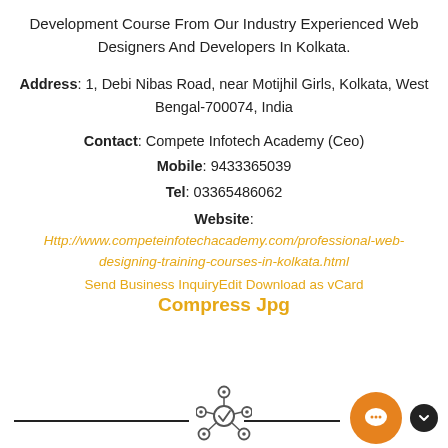Development Course From Our Industry Experienced Web Designers And Developers In Kolkata.
Address: 1, Debi Nibas Road, near Motijhil Girls, Kolkata, West Bengal-700074, India
Contact: Compete Infotech Academy (Ceo)
Mobile: 9433365039
Tel: 03365486062
Website:
Http://www.competeinfotechacademy.com/professional-web-designing-training-courses-in-kolkata.html
Send Business InquiryEdit Download as vCard
Compress Jpg
[Figure (illustration): A network/hub icon with circles connected to a central circle with a checkmark, at the bottom center of the page. Orange chat bubble with white speech icon and dark chevron button at bottom right.]